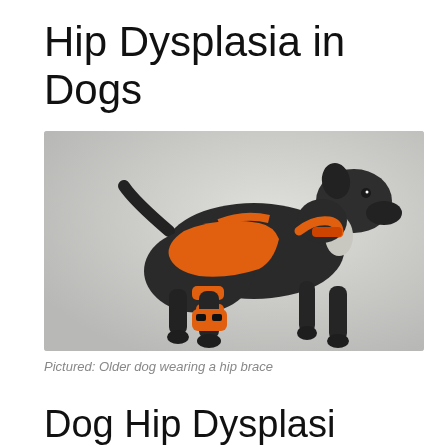Hip Dysplasia in Dogs
[Figure (photo): Older dark-colored dog wearing an orange hip brace/orthotic support on its hind legs, standing against a light grey background]
Pictured: Older dog wearing a hip brace
Dog Hip Dysplasia (partially visible)